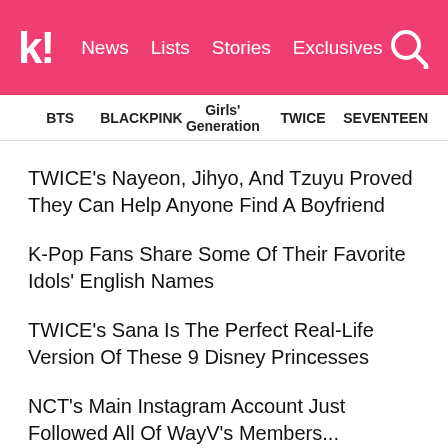k! News Lists Stories Exclusives
BTS  BLACKPINK  Girls' Generation  TWICE  SEVENTEEN
TWICE's Nayeon, Jihyo, And Tzuyu Proved They Can Help Anyone Find A Boyfriend
K-Pop Fans Share Some Of Their Favorite Idols' English Names
TWICE's Sana Is The Perfect Real-Life Version Of These 9 Disney Princesses
NCT's Main Instagram Account Just Followed All Of WayV's Members... Including Lucas
BLACKPINK Jisoo's Geomungo Instructor Praises Her Work Ethic And Admits He Was Speechless After Meeting Her